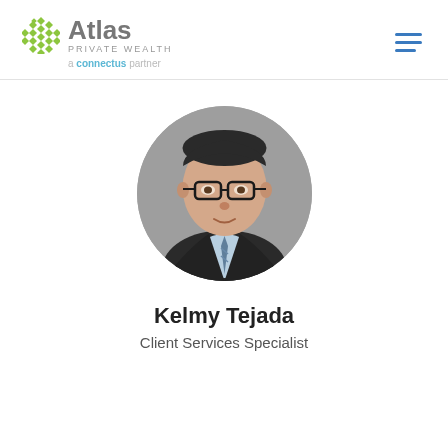Atlas Private Wealth — a connectus partner
[Figure (photo): Circular headshot portrait of Kelmy Tejada, a man wearing glasses and a dark suit with a light blue shirt and striped tie, photographed against a gray background]
Kelmy Tejada
Client Services Specialist
[Figure (photo): Partial view of another circular headshot portrait cropped at the bottom of the page, showing only the top of a person's head with gray hair against a gray background]